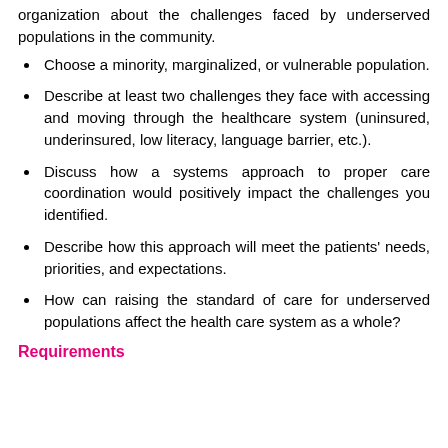organization about the challenges faced by underserved populations in the community.
Choose a minority, marginalized, or vulnerable population.
Describe at least two challenges they face with accessing and moving through the healthcare system (uninsured, underinsured, low literacy, language barrier, etc.).
Discuss how a systems approach to proper care coordination would positively impact the challenges you identified.
Describe how this approach will meet the patients' needs, priorities, and expectations.
How can raising the standard of care for underserved populations affect the health care system as a whole?
Requirements